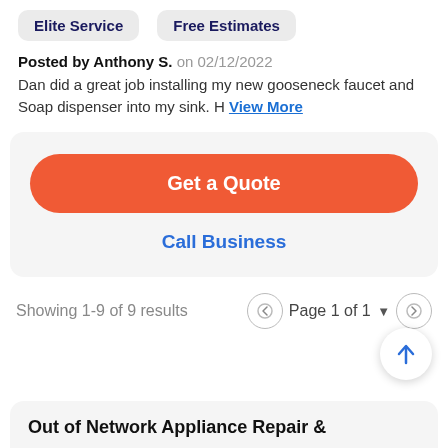Elite Service
Free Estimates
Posted by Anthony S. on 02/12/2022
Dan did a great job installing my new gooseneck faucet and Soap dispenser into my sink. H View More
Get a Quote
Call Business
Showing 1-9 of 9 results
Page 1 of 1
Out of Network Appliance Repair &